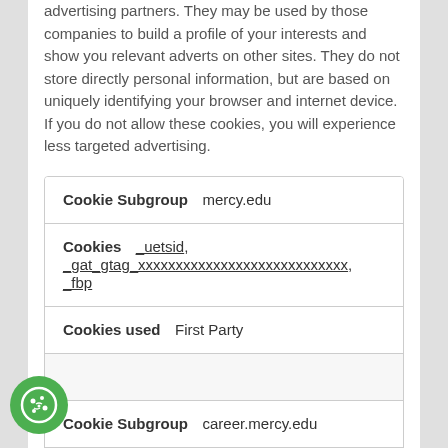advertising partners. They may be used by those companies to build a profile of your interests and show you relevant adverts on other sites. They do not store directly personal information, but are based on uniquely identifying your browser and internet device. If you do not allow these cookies, you will experience less targeted advertising.
| Cookie Subgroup | mercy.edu |
| Cookies | _uetsid, _gat_gtag_xxxxxxxxxxxxxxxxxxxxxxxxxxxx, _fbp |
| Cookies used | First Party |
| Cookie Subgroup | career.mercy.edu |
| Cookies | _gat_xxxxxxxxxxxxxxxxxxxxxxxxxxxx |
| Cookies used | First Party |
| Cookie Subgroup | yahoo.com |